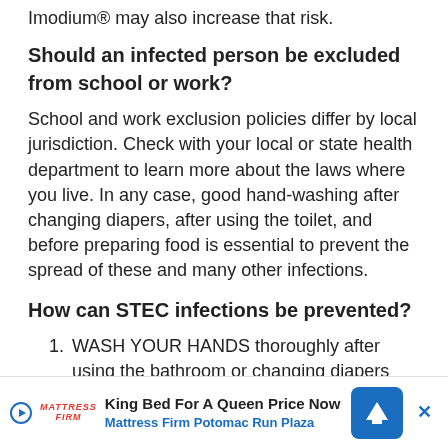Imodium® may also increase that risk.
Should an infected person be excluded from school or work?
School and work exclusion policies differ by local jurisdiction. Check with your local or state health department to learn more about the laws where you live. In any case, good hand-washing after changing diapers, after using the toilet, and before preparing food is essential to prevent the spread of these and many other infections.
How can STEC infections be prevented?
WASH YOUR HANDS thoroughly after using the bathroom or changing diapers and before preparing or eating food. WASH YOUR HANDS after contact with animals or their environments (at farms, petting zoos, fairs, even your own b...
C...heat